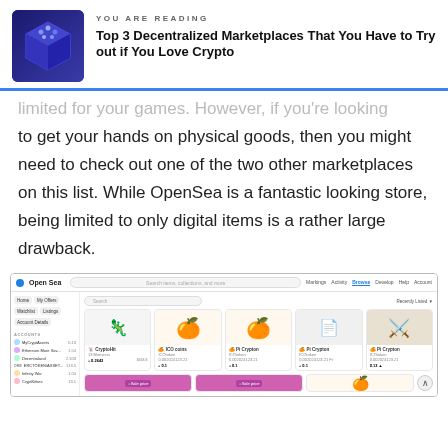YOU ARE READING
Top 3 Decentralized Marketplaces That You Have to Try out if You Love Crypto
...limited for your games. However, if you're looking to get your hands on physical goods, then you might need to check out one of the two other marketplaces on this list. While OpenSea is a fantastic looking store, being limited to only digital items is a rather large drawback.
[Figure (screenshot): Screenshot of the OpenSea marketplace website showing a grid of NFT items including a character, oranges, a paper with writing, and a sword, along with a sidebar showing collections and a top navigation bar.]